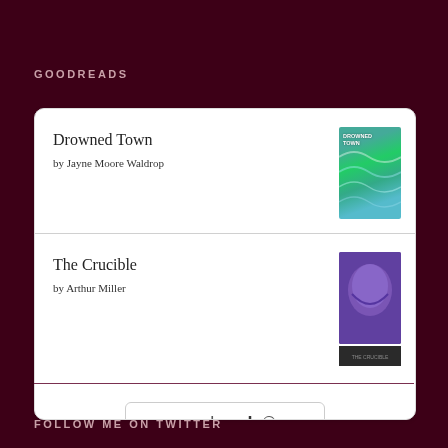GOODREADS
[Figure (other): Goodreads widget card showing two books: 'Drowned Town' by Jayne Moore Waldrop with book cover, and 'The Crucible' by Arthur Miller with book cover, plus a goodreads logo button at the bottom.]
FOLLOW ME ON TWITTER